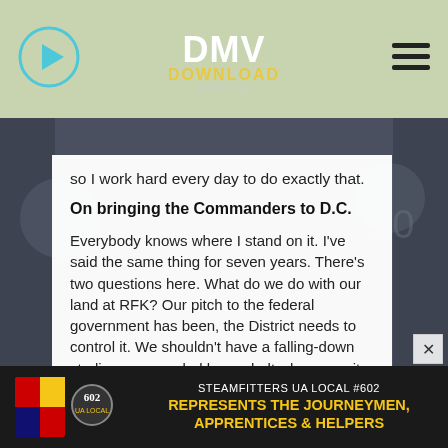DMV Download WTOP
so I work hard every day to do exactly that.
On bringing the Commanders to D.C.
Everybody knows where I stand on it. I've said the same thing for seven years. There's two questions here. What do we do with our land at RFK? Our pitch to the federal government has been, the District needs to control it. We shouldn't have a falling-down stadium surrounded by asphalt when our city needs housing and jobs. So we have to get control of our land. I support, like I have supported Audi Field, if you would remember that the District acquired the land and prepared it for development. And the team, D.C. United, it lit up...more
[Figure (logo): Steamfitters UA Local #602 advertisement banner with logo and text: REPRESENTS THE JOURNEYMEN, APPRENTICES & HELPERS]